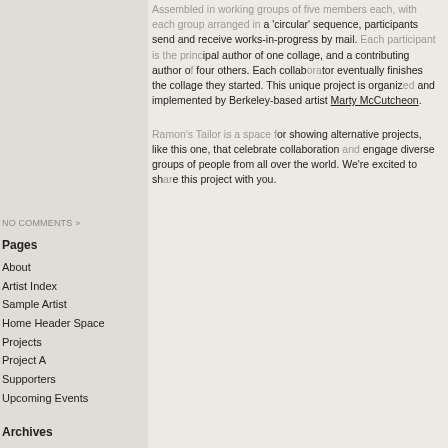Assembled in working groups of five members each, with each group arranged in a 'circular' sequence, participants send and receive works-in-progress by mail. Each participant is the principal author of one collage, and a contributing author of four others. Each collaborator eventually finishes the collage they started. This unique project is organized and implemented by Berkeley-based artist Marty McCutcheon.
Ramon's Tailor is a space for showing alternative projects, like this one, that celebrate collaboration and engage diverse groups of people from all over the world. We're excited to share this project with you.
NO COMMENTS »
Pages
About
Artist Index
Sample Artist
Home Header Space
Projects
Project A
Supporters
Upcoming Events
Archives